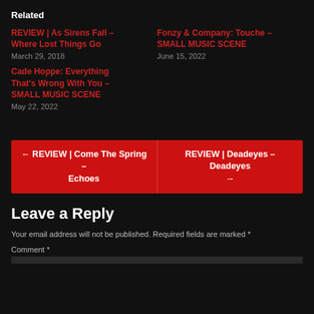Related
REVIEW | As Sirens Fall – Where Lost Things Go
March 29, 2018
Fonzy & Company: Touche – SMALL MUSIC SCENE
June 15, 2022
Cade Hoppe: Everything That's Wrong With You – SMALL MUSIC SCENE
May 22, 2022
← REVIEW | Come The Spring – Echoes
REVIEW | Deadeyes – Deadeyes →
Leave a Reply
Your email address will not be published. Required fields are marked *
Comment *